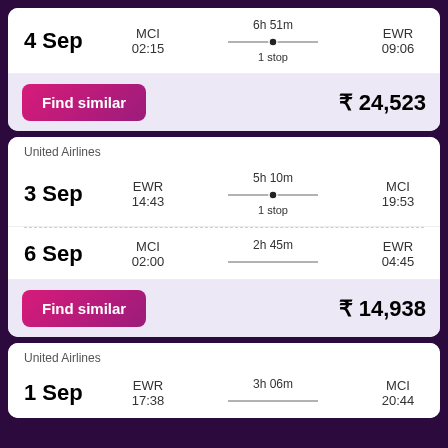4 Sep | MCI 02:15 | 6h 51m 1 stop | EWR 09:06 | ₹ 24,523
United Airlines
3 Sep | EWR 14:43 | 5h 10m 1 stop | MCI 19:53
6 Sep | MCI 02:00 | 2h 45m | EWR 04:45 | ₹ 14,938
United Airlines
1 Sep | EWR 17:38 | 3h 06m | MCI 20:44